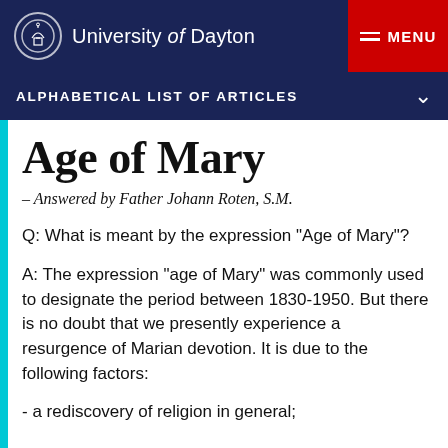University of Dayton — MENU
ALPHABETICAL LIST OF ARTICLES
Age of Mary
– Answered by Father Johann Roten, S.M.
Q: What is meant by the expression "Age of Mary"?
A: The expression "age of Mary" was commonly used to designate the period between 1830-1950. But there is no doubt that we presently experience a resurgence of Marian devotion. It is due to the following factors:
- a rediscovery of religion in general;